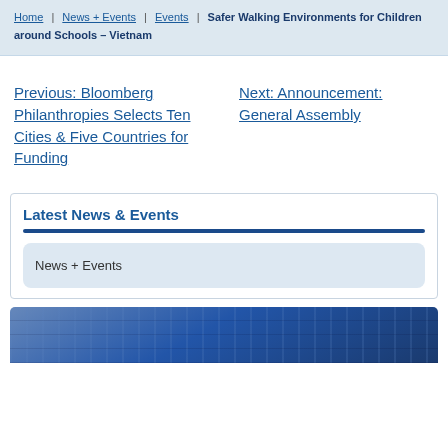Home | News + Events | Events | Safer Walking Environments for Children around Schools – Vietnam
Previous: Bloomberg Philanthropies Selects Ten Cities & Five Countries for Funding
Next: Announcement: General Assembly
Latest News & Events
News + Events
[Figure (photo): Blue-toned architectural photo used as a banner strip at the bottom of the page]